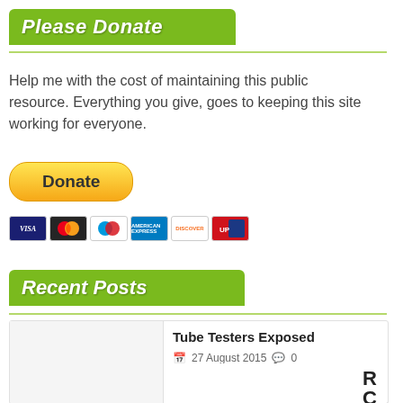Please Donate
Help me with the cost of maintaining this public resource. Everything you give, goes to keeping this site working for everyone.
[Figure (other): PayPal Donate button with credit card icons (VISA, Mastercard, Maestro, American Express, Discover, UnionPay)]
Recent Posts
Tube Testers Exposed
27 August 2015  0
[Figure (other): Partial thumbnail image showing RCA text vertically]